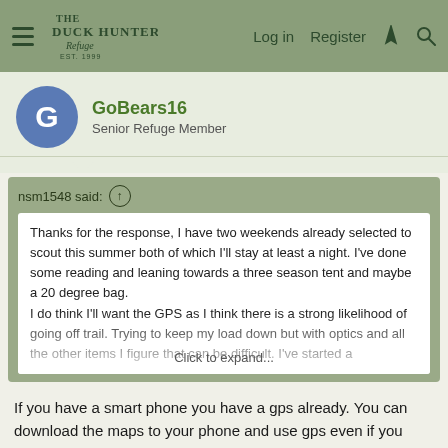Duck Hunter's Refuge — Log in  Register
GoBears16
Senior Refuge Member
nsm1548 said: ↑
Thanks for the response, I have two weekends already selected to scout this summer both of which I'll stay at least a night. I've done some reading and leaning towards a three season tent and maybe a 20 degree bag.
I do think I'll want the GPS as I think there is a strong likelihood of going off trail. Trying to keep my load down but with optics and all the other items I figure that can be difficult. I've started a
Click to expand...
If you have a smart phone you have a gps already. You can download the maps to your phone and use gps even if you don't have service. I use my phone for a lot of things that years ago took multiple items…. Look on rokslide and other forums